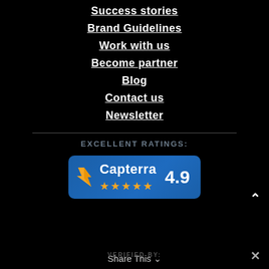Success stories
Brand Guidelines
Work with us
Become partner
Blog
Contact us
Newsletter
EXCELLENT RATINGS:
[Figure (logo): Capterra badge with 4.9 star rating and 5 orange stars on a blue rounded rectangle background]
Share This
VERIFIED BY: